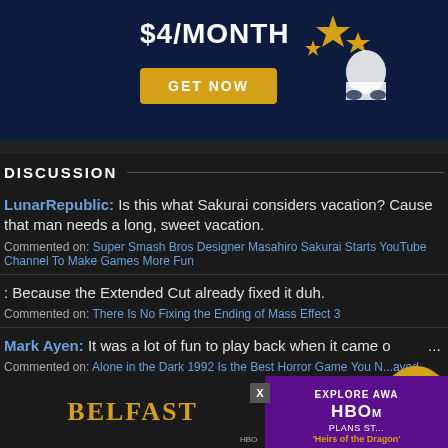[Figure (infographic): Dark blue advertisement banner showing '$4/MONTH' in large white text with a gold 'GET NOW' button, gold stars and a ghost/figure silhouette on the right side]
DISCUSSION
LunarRepublic: Is this what Sakurai considers vacation? Cause that man needs a long, sweet vacation. Commented on: Super Smash Bros Designer Masahiro Sakurai Starts YouTube Channel To Make Games More Fun
: Because the Extended Cut already fixed it duh. Commented on: There Is No Fixing the Ending of Mass Effect 3
Mark Ayen: It was a lot of fun to play back when it came o... Commented on: Alone in the Dark 1992 Is the Best Horror Game You N...ayed
BlueAversion: I've only read snippets. One thing I r...all is one of the 3 dragons from... Commented on: Hou...
[Figure (infographic): Bottom banner ad showing BELFAST in gold text on dark left side, and EXPLORE AWA / HBO / PLANS ST... / 'Heirs of the Dragon' text on purple right side]